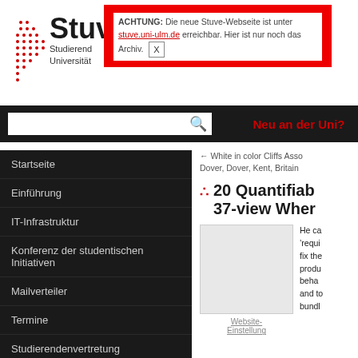[Figure (logo): Stuve logo with dot grid pattern and text 'Stuve Studierendenvertretung Universität']
ACHTUNG: Die neue Stuve-Webseite ist unter [link] erreichbar. Hier ist nur noch das Archiv. [X]
Neu an der Uni?
Startseite
Einführung
IT-Infrastruktur
Konferenz der studentischen Initiativen
Mailverteiler
Termine
Studierendenvertretung
Referate & Arbeitskreise
← White in color Cliffs Asso Dover, Dover, Kent, Britain
20 Quantifiab 37-view Wher
[Figure (photo): A light gray placeholder image]
Website-Einstellung
He ca ,requi fix the produ beha and to bundl